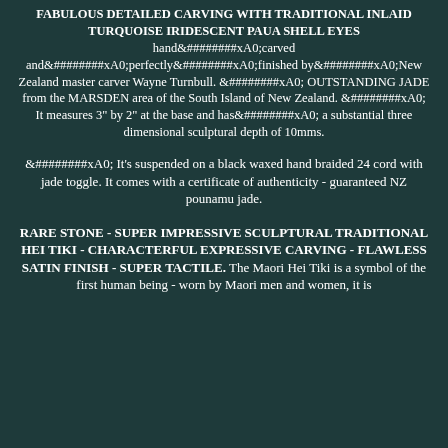FABULOUS DETAILED CARVING WITH TRADITIONAL INLAID TURQUOISE IRIDESCENT PAUA SHELL EYES hand&#########xA0;carved and&#########xA0;perfectly&#########xA0;finished by&#########xA0;New Zealand master carver Wayne Turnbull. &#########xA0; OUTSTANDING JADE from the MARSDEN area of the South Island of New Zealand. &#########xA0; It measures 3" by 2" at the base and has&#########xA0; a substantial three dimensional sculptural depth of 10mms.
&#########xA0; It's suspended on a black waxed hand braided 24 cord with jade toggle. It comes with a certificate of authenticity - guaranteed NZ pounamu jade.
RARE STONE - SUPER IMPRESSIVE SCULPTURAL TRADITIONAL HEI TIKI - CHARACTERFUL EXPRESSIVE CARVING - FLAWLESS SATIN FINISH - SUPER TACTILE. The Maori Hei Tiki is a symbol of the first human being - worn by Maori men and women, it is